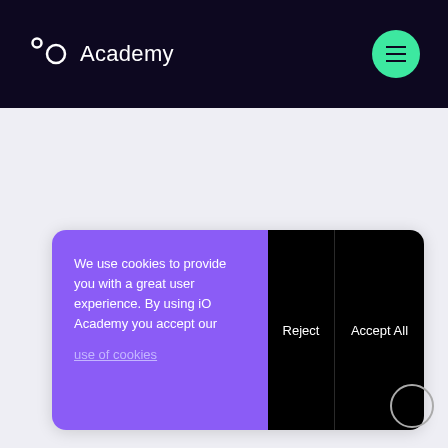iO Academy
We use cookies to provide you with a great user experience. By using iO Academy you accept our use of cookies
Reject
Accept All